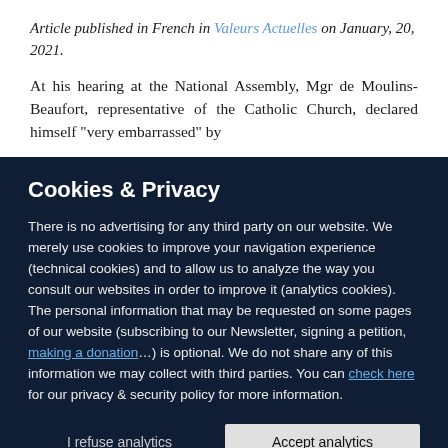Article published in French in Valeurs Actuelles on January, 20, 2021.
At his hearing at the National Assembly, Mgr de Moulins-Beaufort, representative of the Catholic Church, declared himself "very embarrassed" by
Cookies & Privacy
There is no advertising for any third party on our website. We merely use cookies to improve your navigation experience (technical cookies) and to allow us to analyze the way you consult our websites in order to improve it (analytics cookies). The personal information that may be requested on some pages of our website (subscribing to our Newsletter, signing a petition, making a donation…) is optional. We do not share any of this information we may collect with third parties. You can check here for our privacy & security policy for more information.